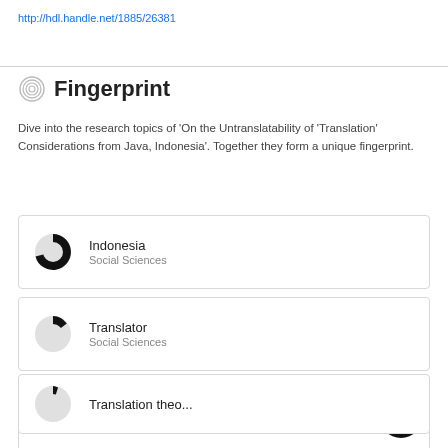http://hdl.handle.net/1885/26381
Fingerprint
Dive into the research topics of 'On the Untranslatability of 'Translation' Considerations from Java, Indonesia'. Together they form a unique fingerprint.
Indonesia — Social Sciences
Translator — Social Sciences
Technical language — Social Sciences
Translation theory...